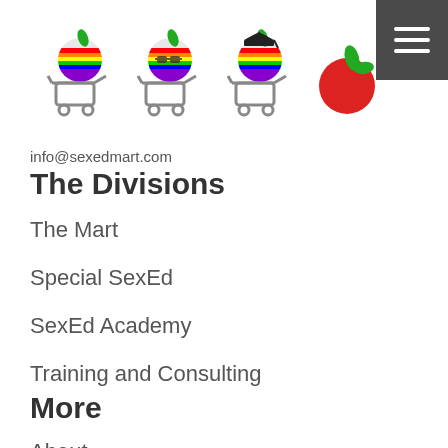[Figure (logo): Three shopping carts with rainbow apple icons and one red apple with a leaf, serving as the SexEdMart logo]
info@sexedmart.com
The Divisions
The Mart
Special SexEd
SexEd Academy
Training and Consulting
More
About
Blog
Contact
Policies
T...